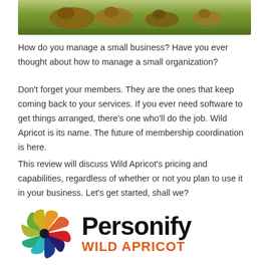[Figure (photo): Photo of people or animals on grass, partially cropped at top]
How do you manage a small business? Have you ever thought about how to manage a small organization?
Don't forget your members. They are the ones that keep coming back to your services. If you ever need software to get things arranged, there's one who'll do the job. Wild Apricot is its name. The future of membership coordination is here.
This review will discuss Wild Apricot's pricing and capabilities, regardless of whether or not you plan to use it in your business. Let's get started, shall we?
[Figure (logo): Personify Wild Apricot logo — colorful pinwheel circle icon on left, 'Personify' in large black bold text, 'WILD APRICOT' in orange bold text below]